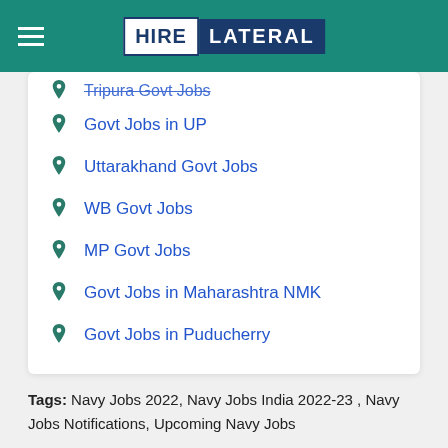HIRE LATERAL
Tripura Govt Jobs
Govt Jobs in UP
Uttarakhand Govt Jobs
WB Govt Jobs
MP Govt Jobs
Govt Jobs in Maharashtra NMK
Govt Jobs in Puducherry
Tags: Navy Jobs 2022, Navy Jobs India 2022-23 , Navy Jobs Notifications, Upcoming Navy Jobs